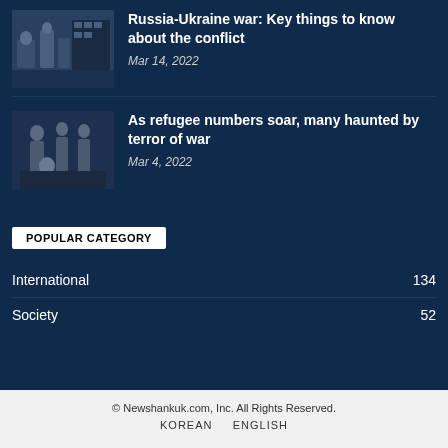[Figure (photo): Thumbnail photo of people at a train station with luggage, related to Russia-Ukraine war coverage]
Russia-Ukraine war: Key things to know about the conflict
Mar 14, 2022
[Figure (photo): Thumbnail photo of a group of people including a child, related to refugee coverage]
As refugee numbers soar, many haunted by terror of war
Mar 4, 2022
POPULAR CATEGORY
International  134
Society  52
© Newshankuk.com, Inc. All Rights Reserved.
KOREAN   ENGLISH